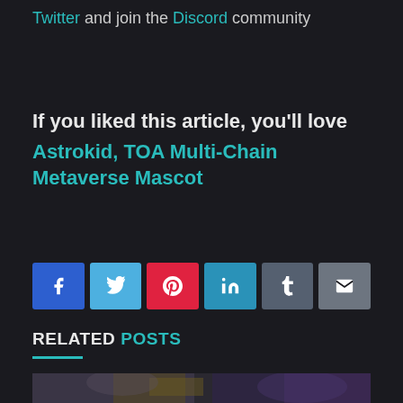Twitter and join the Discord community
If you liked this article, you'll love Astrokid, TOA Multi-Chain Metaverse Mascot
[Figure (other): Social sharing buttons: Facebook (f), Twitter (bird icon), Pinterest (p), LinkedIn (in), Tumblr (t), Email (envelope icon)]
RELATED POSTS
[Figure (photo): Thumbnail image of an anime/fantasy illustration showing dark characters with wings and dramatic lighting]